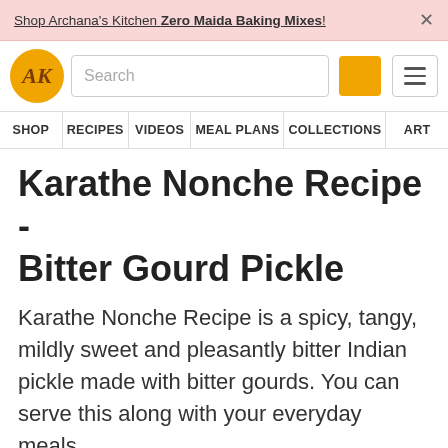Shop Archana's Kitchen Zero Maida Baking Mixes!
[Figure (logo): Archana's Kitchen logo - AK in gold circle with search bar and navigation icons]
SHOP | RECIPES | VIDEOS | MEAL PLANS | COLLECTIONS | ART
Karathe Nonche Recipe - Bitter Gourd Pickle
Karathe Nonche Recipe is a spicy, tangy, mildly sweet and pleasantly bitter Indian pickle made with bitter gourds. You can serve this along with your everyday meals.
Vanitha  On 31 Oct 2017